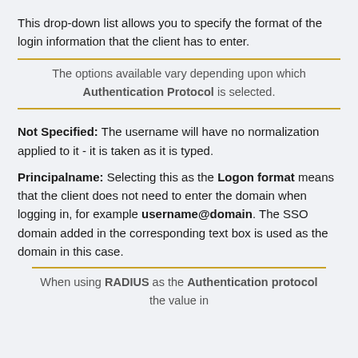This drop-down list allows you to specify the format of the login information that the client has to enter.
The options available vary depending upon which Authentication Protocol is selected.
Not Specified: The username will have no normalization applied to it - it is taken as it is typed.
Principalname: Selecting this as the Logon format means that the client does not need to enter the domain when logging in, for example username@domain. The SSO domain added in the corresponding text box is used as the domain in this case.
When using RADIUS as the Authentication protocol the value in